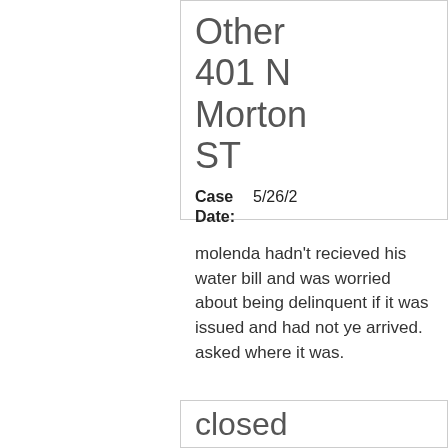Other
401 N Morton ST
Case Date: 5/26/2
molenda hadn't recieved his water bill and was worried about being delinquent if it was issued and had not ye arrived. asked where it was.
closed